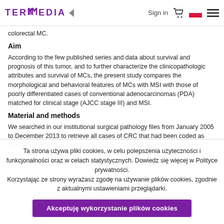TERMEDIA | Sign in | [cart] | [flag] | [menu]
colorectal MC.
Aim
According to the few published series and data about survival and prognosis of this tumor, and to further characterize the clinicopathologic attributes and survival of MCs, the present study compares the morphological and behavioral features of MCs with MSI with those of poorly differentiated cases of conventional adenocarcinomas (PDA) matched for clinical stage (AJCC stage III) and MSI.
Material and methods
We searched in our institutional surgical pathology files from January 2005 to December 2013 to retrieve all cases of CRC that had been coded as "undifferentiated", "poorly differentiated", "anaplastic", "medullary", and "lymphoepithelial carcinoma". We reviewed all the H + E-stained sections of each lesion obtained thought to obtain the carcinomas that meet the
Ta strona używa pliki cookies, w celu polepszenia użyteczności i funkcjonalności oraz w celach statystycznych. Dowiedz się więcej w Polityce prywatności.
Korzystając ze strony wyrażasz zgodę na używanie plików cookies, zgodnie z aktualnymi ustawieniami przeglądarki.
Akceptuję wykorzystanie plików cookies